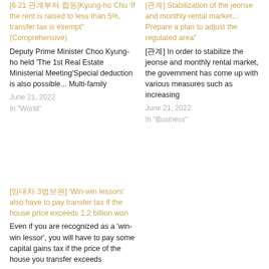[6·21 관계부처 합동]Kyung-ho Chu 'If the rent is raised to less than 5%, transfer tax is exempt' (Comprehensive)
Deputy Prime Minister Choo Kyung-ho held 'The 1st Real Estate Ministerial Meeting'Special deduction is also possible... Multi-family
June 21, 2022
In "World"
[관계] Stabilization of the jeonse and monthly rental market… Prepare a plan to adjust the regulated area"
[관계] In order to stabilize the jeonse and monthly rental market, the government has come up with various measures such as increasing
June 21, 2022
In "Business"
[임대차 3법보완] 'Win-win lessors' also have to pay transfer tax if the house price exceeds 1.2 billion won
Even if you are recognized as a 'win-win lessor', you will have to pay some capital gains tax if the price of the house you transfer exceeds
June 27, 2022
In "Business"